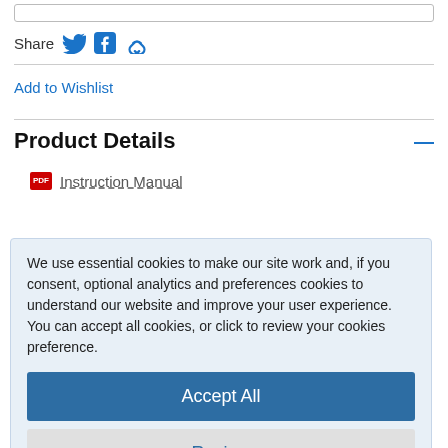Share
Add to Wishlist
Product Details
Instruction Manual
We use essential cookies to make our site work and, if you consent, optional analytics and preferences cookies to understand our website and improve your user experience. You can accept all cookies, or click to review your cookies preference.
Accept All
Review